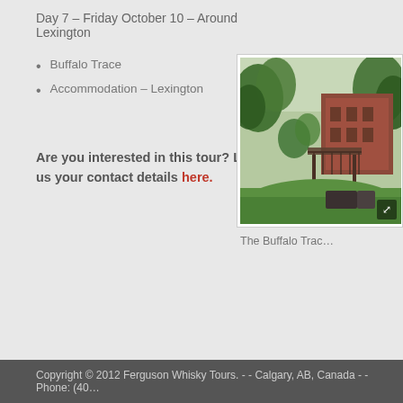Day 7 – Friday October 10 – Around Lexington
Buffalo Trace
Accommodation – Lexington
Are you interested in this tour? Leave us your contact details here.
[Figure (photo): Outdoor photo of Buffalo Trace distillery grounds showing brick buildings, green trees, and landscaped gardens]
The Buffalo Trac…
Copyright © 2012 Ferguson Whisky Tours. - - Calgary, AB, Canada - - Phone: (40…